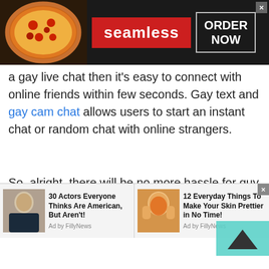[Figure (screenshot): Seamless food delivery banner advertisement with pizza image on left, red 'seamless' logo in center, and 'ORDER NOW' button on right, dark background]
a gay live chat then it's easy to connect with online friends within few seconds. Gay text and gay cam chat allows users to start an instant chat or random chat with online strangers.
So, alright, there will be no more hassle for guy users. Free gay chat rooms or gay cam chat is absolutely the best chat room available that help gays to enlarge their friend's circle. Are you willing to join free gay chat rooms without spending any
[Figure (screenshot): Bottom advertisement bar with two sponsored content items: '30 Actors Everyone Thinks Are American, But Aren't!' with a man's photo (Ad by FillyNews), and '12 Everyday Things To Make Your Skin Prettier in No Time!' with a woman's photo (Ad by FillyNews)]